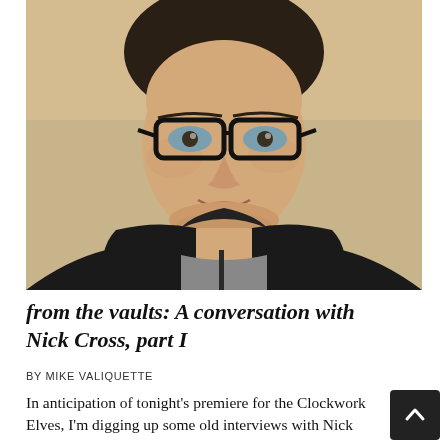[Figure (photo): Portrait photo of a man with dark hair, wearing black-rimmed glasses and a dark hoodie over a grey t-shirt, smiling slightly, against a warm beige/tan background.]
from the vaults: A conversation with Nick Cross, part I
BY MIKE VALIQUETTE
In anticipation of tonight's premiere for the Clockwork Elves, I'm digging up some old interviews with Nick